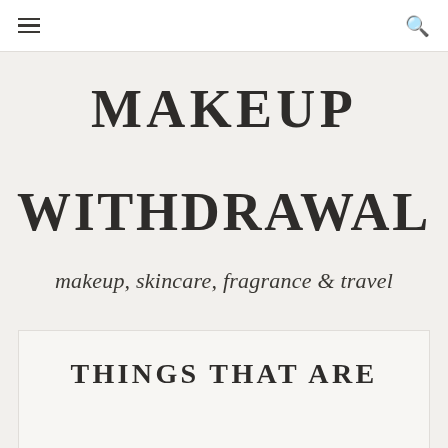☰  🔍
MAKEUP WITHDRAWAL
makeup, skincare, fragrance & travel
THINGS THAT ARE